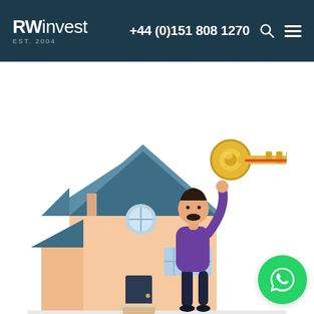RWinvest EST. 2004 | +44 (0)151 808 1270
[Figure (illustration): Illustration of a man holding a large golden key standing next to a house, representing property investment. A green WhatsApp button is visible in the bottom right corner.]